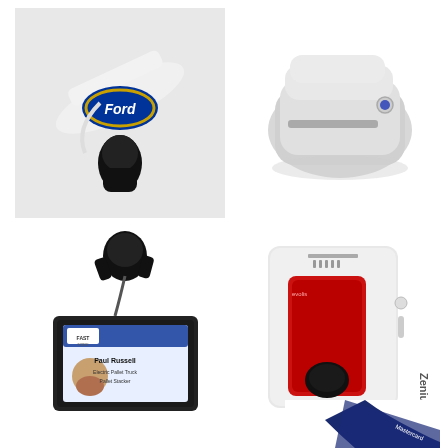[Figure (photo): A white Ford-branded retractable badge reel / lanyard with black clip, displayed on a white background]
[Figure (photo): A white compact ID card printer (small desktop card printer) on a white background]
[Figure (photo): A retractable badge holder/reel with a black swivel clip holding an ID card for Paul Russell, Fast Fork company, displayed on a white background]
[Figure (photo): An Evolis Zenius white and red ID card printer on a white background, with red card input slot and Zenius branding on side]
[Figure (photo): Bottom corner partial view of a dark blue lanyard with text/logo on white background]